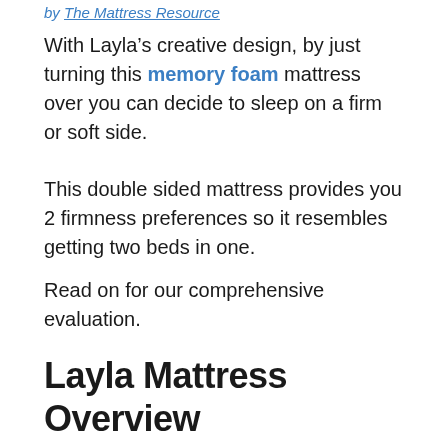by The Mattress Resource
With Layla’s creative design, by just turning this memory foam mattress over you can decide to sleep on a firm or soft side.
This double sided mattress provides you 2 firmness preferences so it resembles getting two beds in one.
Read on for our comprehensive evaluation.
Layla Mattress Overview
Layla Sleep is the organization that was